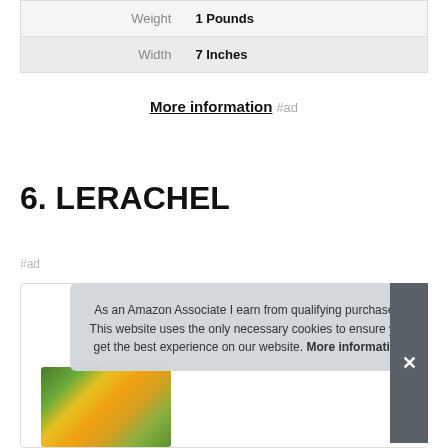| Weight | 1 Pounds |
| Width | 7 Inches |
More information #ad
6. LERACHEL
#ad
As an Amazon Associate I earn from qualifying purchases. This website uses the only necessary cookies to ensure you get the best experience on our website. More information
[Figure (photo): Product image with flower/plant arrangement partially visible at the bottom]